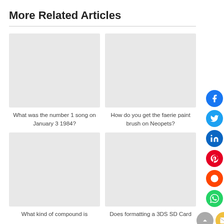More Related Articles
[Figure (photo): Placeholder image (light gray rectangle) for article about number 1 song on January 3 1984]
What was the number 1 song on January 3 1984?
[Figure (photo): Placeholder image (light gray rectangle) for article about faerie paint brush on Neopets]
How do you get the faerie paint brush on Neopets?
[Figure (photo): Placeholder image (light gray rectangle) for article about what kind of compound]
What kind of compound is
[Figure (photo): Placeholder image (light gray rectangle) for article about formatting a 3DS SD Card]
Does formatting a 3DS SD Card